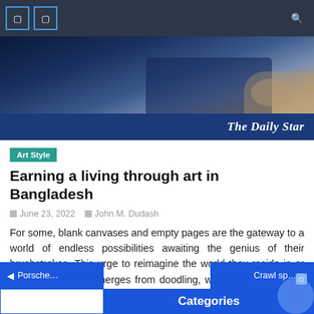Navigation bar with icons and search
[Figure (photo): Hero image showing a hand near a tablet/laptop, dark blue tones. The Daily Star logo overlaid on dark blue banner at bottom.]
Art Style
Earning a living through art in Bangladesh
June 23, 2022   John M. Dudash
For some, blank canvases and empty pages are the gateway to a world of endless possibilities awaiting the genius of their brushstrokes. This urge to reimagine the world they reside in or create new ones emerges from doodling, watching cartoons, or drawing their “graam er drissho”. While the practice of turning your creative endeavors into [...]
Porsche...   Categories   Crawl sp...